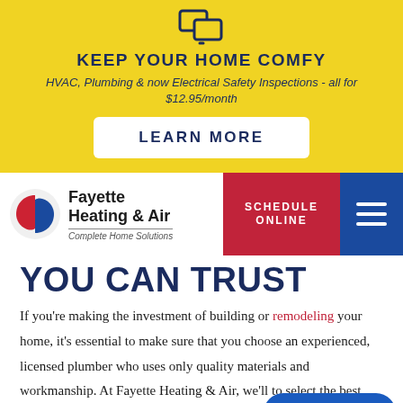[Figure (logo): Computer/device icon above the banner text]
KEEP YOUR HOME COMFY
HVAC, Plumbing & now Electrical Safety Inspections - all for $12.95/month
LEARN MORE
[Figure (logo): Fayette Heating & Air company logo with red and blue swirl icon and text 'Complete Home Solutions']
SCHEDULE ONLINE
YOU CAN TRUST
If you're making the investment of building or remodeling your home, it's essential to make sure that you choose an experienced, licensed plumber who uses only quality materials and workmanship. At Fayette Heating & Air, we'll to select the best quality fixtures and install your timeline, and your budget.